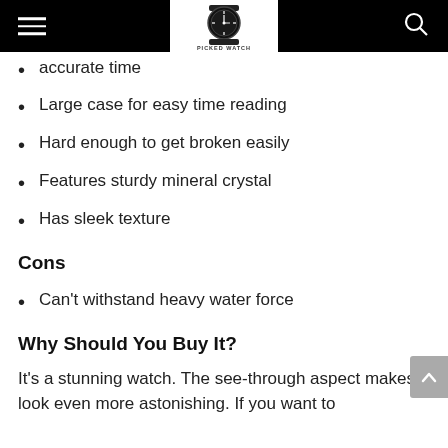Picked Watch
accurate time
Large case for easy time reading
Hard enough to get broken easily
Features sturdy mineral crystal
Has sleek texture
Cons
Can't withstand heavy water force
Why Should You Buy It?
It's a stunning watch. The see-through aspect makes it look even more astonishing. If you want to